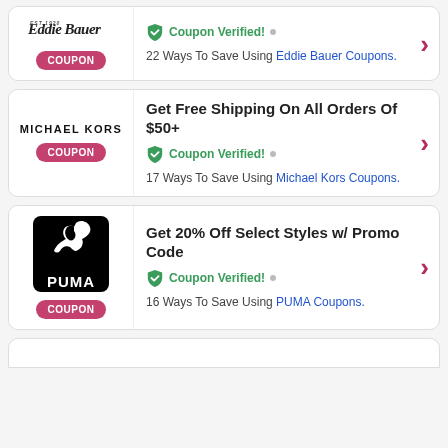[Figure (logo): Eddie Bauer cursive logo]
Coupon Verified!
22 Ways To Save Using Eddie Bauer Coupons.
[Figure (logo): Michael Kors text logo]
Get Free Shipping On All Orders Of $50+
Coupon Verified!
17 Ways To Save Using Michael Kors Coupons.
[Figure (logo): PUMA logo on black square background]
Get 20% Off Select Styles w/ Promo Code
Coupon Verified!
16 Ways To Save Using PUMA Coupons.